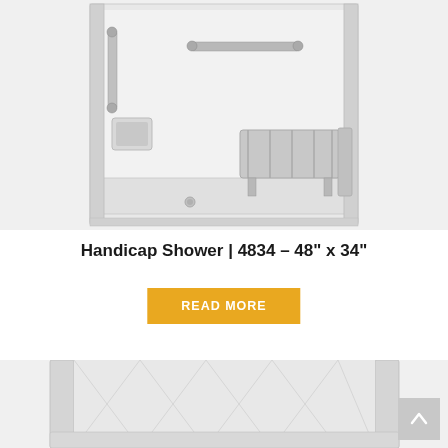[Figure (photo): Handicap shower unit 4834 - 48 inch by 34 inch, showing interior with grab bars, bench seat, soap holder, and shower floor drain. White/grey enclosure.]
Handicap Shower | 4834 – 48" x 34"
READ MORE
[Figure (photo): Bottom portion of another shower or tub product, showing white/grey paneled walls and base with diamond pattern.]